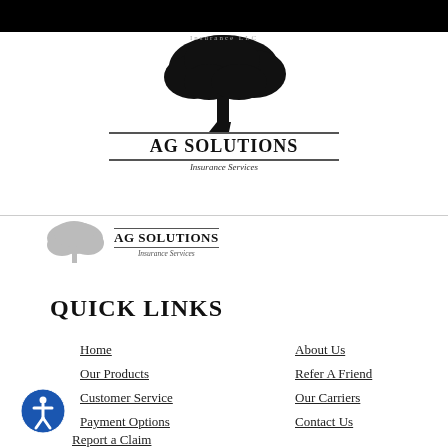[Figure (logo): AG Solutions Insurance Services logo with tree illustration - main large version centered at top]
[Figure (logo): AG Solutions Insurance Services logo with faded tree - smaller secondary version below divider line, left-aligned]
QUICK LINKS
Home
About Us
Our Products
Refer A Friend
Customer Service
Our Carriers
Payment Options
Contact Us
Report a Claim